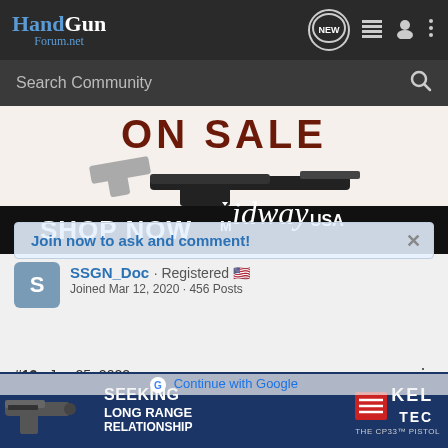HandGun Forum.net
Search Community
[Figure (screenshot): MidwayUSA advertisement banner showing firearms ON SALE with SHOP NOW text and MidwayUSA logo]
SSGN_Doc · Registered 🇺🇸
Joined Mar 12, 2020 · 456 Posts
Join now to ask and comment!
#13 · Jun 25, 2022
Continue with Facebook
Washington has had a very unusually cool June until this weekend. High temperatures in the low 80s. Problem
Continue with Google
[Figure (screenshot): Kel-Tec advertisement: SEEKING LONG RANGE RELATIONSHIP, THE CP33 PISTOL, showing a handgun]